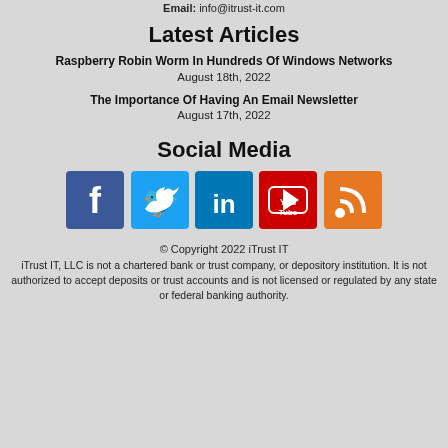Email: info@itrust-it.com
Latest Articles
Raspberry Robin Worm In Hundreds Of Windows Networks
August 18th, 2022
The Importance Of Having An Email Newsletter
August 17th, 2022
Social Media
[Figure (logo): Social media icons: Facebook, Twitter, LinkedIn, YouTube, RSS]
© Copyright 2022 iTrust IT
iTrust IT, LLC is not a chartered bank or trust company, or depository institution. It is not authorized to accept deposits or trust accounts and is not licensed or regulated by any state or federal banking authority.